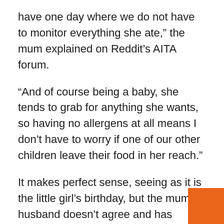have one day where we do not have to monitor everything she ate,” the mum explained on Reddit’s AITA forum.
“And of course being a baby, she tends to grab for anything she wants, so having no allergens at all means I don’t have to worry if one of our other children leave their food in her reach.”
It makes perfect sense, seeing as it is the little girl’s birthday, but the mum’s husband doesn’t agree and has argued that both him and his family won’t eat vegan food.
“I wasn’t planning on anything too out there. My mum volunteered to make her homemade veggie soup, and I was going to make a chocolate cake